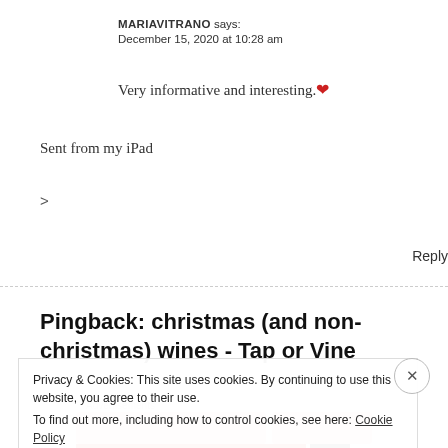MARIAVITRANO says: December 15, 2020 at 10:28 am
Very informative and interesting.❤
Sent from my iPad
>
Reply
Pingback: christmas (and non-christmas) wines - Tap or Vine
Privacy & Cookies: This site uses cookies. By continuing to use this website, you agree to their use. To find out more, including how to control cookies, see here: Cookie Policy
Close and accept